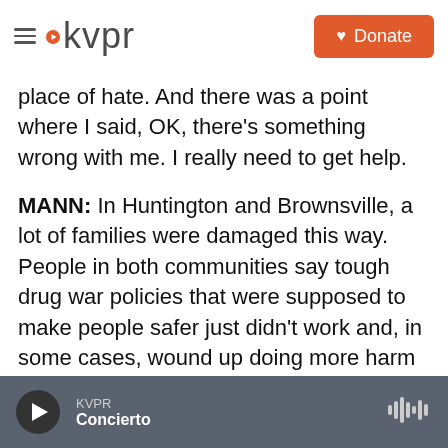kvpr | Donate
place of hate. And there was a point where I said, OK, there's something wrong with me. I really need to get help.
MANN: In Huntington and Brownsville, a lot of families were damaged this way. People in both communities say tough drug war policies that were supposed to make people safer just didn't work and, in some cases, wound up doing more harm than good. One reason I wanted to look at these two places together is because people are asking similar questions about the country's response to addiction - how it went wrong, how it could change.
KVPR | Concierto